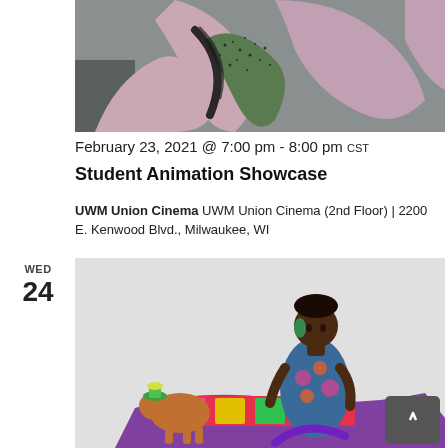[Figure (illustration): Abstract artwork showing pink and green painted limb-like shapes on a gray background with black brushstroke marks]
February 23, 2021 @ 7:00 pm - 8:00 pm CST
Student Animation Showcase
UWM Union Cinema UWM Union Cinema (2nd Floor) | 2200 E. Kenwood Blvd., Milwaukee, WI
WED
24
[Figure (illustration): Colorful illustration of a Black woman with afro puffs wearing a blue and pink patterned outfit, seated, with a small dog wearing a hat to her left, on a light gray background]